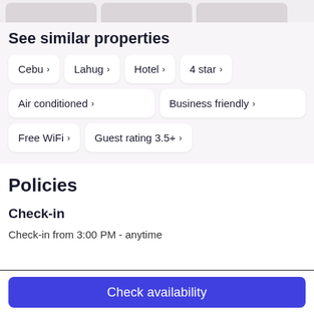See similar properties
Cebu ›
Lahug ›
Hotel ›
4 star ›
Air conditioned ›
Business friendly ›
Free WiFi ›
Guest rating 3.5+ ›
Policies
Check-in
Check-in from 3:00 PM - anytime
Check availability